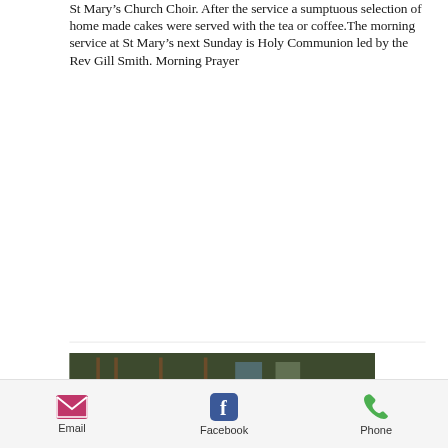St Mary's Church Choir. After the service a sumptuous selection of home made cakes were served with the tea or coffee.The morning service at St Mary's next Sunday is Holy Communion led by the Rev Gill Smith. Morning Prayer
[Figure (photo): Dark interior photograph, appears to show a room with green walls and wooden furniture]
Email  Facebook  Phone